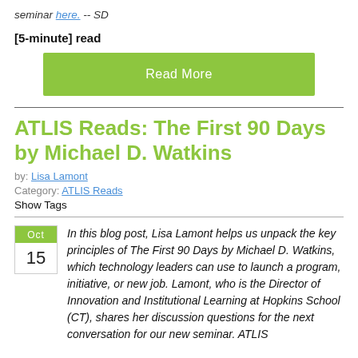seminar here. -- SD
[5-minute] read
Read More
ATLIS Reads: The First 90 Days by Michael D. Watkins
by: Lisa Lamont
Category: ATLIS Reads
Show Tags
In this blog post, Lisa Lamont helps us unpack the key principles of The First 90 Days by Michael D. Watkins, which technology leaders can use to launch a program, initiative, or new job. Lamont, who is the Director of Innovation and Institutional Learning at Hopkins School (CT), shares her discussion questions for the next conversation for our new seminar. ATLIS